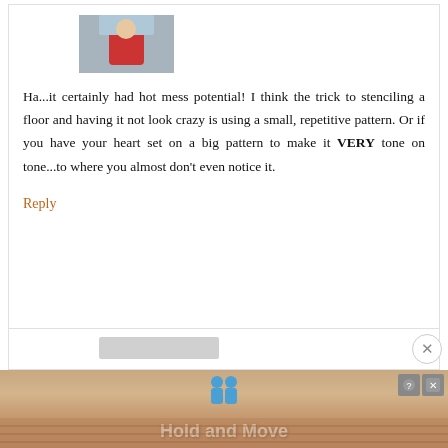[Figure (photo): Person wearing red shirt, partially visible, cropped image at top of comment]
Ha...it certainly had hot mess potential! I think the trick to stenciling a floor and having it not look crazy is using a small, repetitive pattern. Or if you have your heart set on a big pattern to make it VERY tone on tone...to where you almost don't even notice it.
Reply
[Figure (screenshot): Advertisement banner at bottom showing 'Hold and Move' with animated characters and wood plank background]